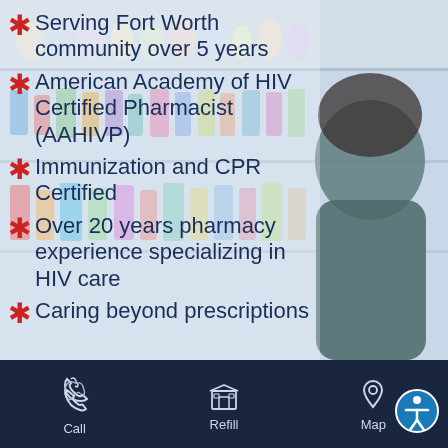Serving Fort Worth community over 5 years
American Academy of HIV Certified Pharmacist (AAHIVP)
Immunization and CPR Certified
Over 20 years pharmacy experience specializing in HIV care
Caring beyond prescriptions
[Figure (photo): Background photo of pharmacy shelves with colorful products and a pharmacist (woman in scrubs) visible on the right side]
Call | Refill | Map